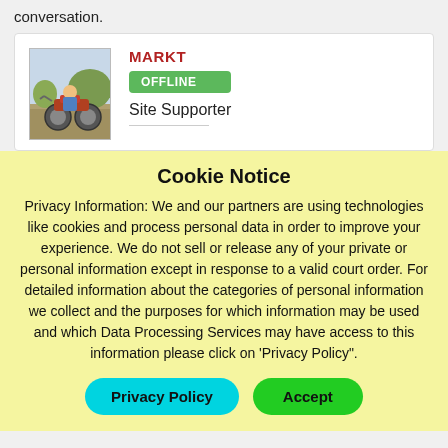conversation.
[Figure (photo): User avatar showing a person on a motorcycle outdoors]
MARKT
OFFLINE
Site Supporter
Cookie Notice
Privacy Information: We and our partners are using technologies like cookies and process personal data in order to improve your experience. We do not sell or release any of your private or personal information except in response to a valid court order. For detailed information about the categories of personal information we collect and the purposes for which information may be used and which Data Processing Services may have access to this information please click on 'Privacy Policy".
Privacy Policy
Accept